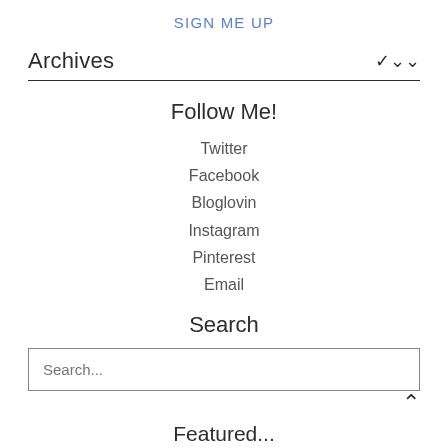SIGN ME UP
Archives
Follow Me!
Twitter
Facebook
Bloglovin
Instagram
Pinterest
Email
Search
Search...
Featured...